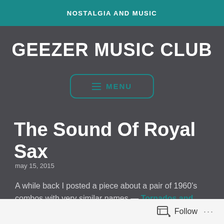NOSTALGIA AND MUSIC
GEEZER MUSIC CLUB
≡ MENU
The Sound Of Royal Sax
may 15, 2015
A while back I posted a piece about a pair of 1960's combos with very similar names — Tornados and Tornadoes — but today it's a
Follow ...